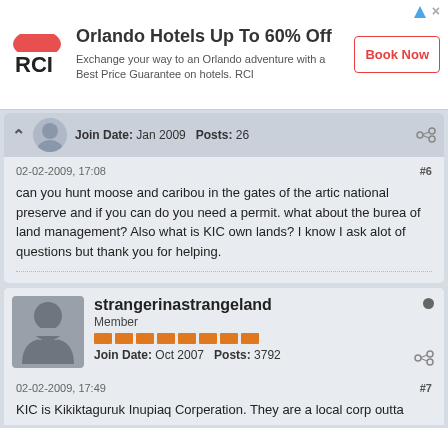[Figure (infographic): RCI advertisement banner: Orlando Hotels Up To 60% Off. Logo with red half-circle and RCI text. Book Now button.]
Join Date: Jan 2009   Posts: 26
02-02-2009, 17:08
#6
can you hunt moose and caribou in the gates of the artic national preserve and if you can do you need a permit. what about the burea of land management? Also what is KIC own lands? I know I ask alot of questions but thank you for helping.
strangerinastrangeland
Member
Join Date: Oct 2007   Posts: 3792
02-02-2009, 17:49
#7
KIC is Kikiktaguruk Inupiaq Corperation. They are a local corp outta